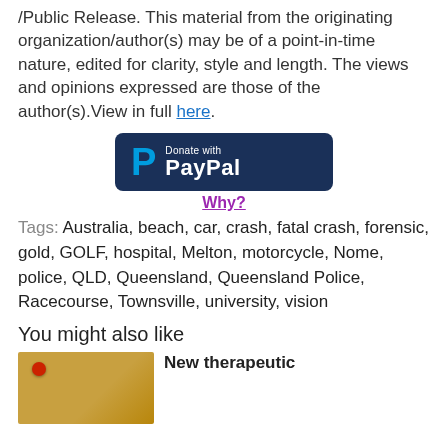/Public Release. This material from the originating organization/author(s) may be of a point-in-time nature, edited for clarity, style and length. The views and opinions expressed are those of the author(s).View in full here.
[Figure (other): Donate with PayPal button — dark navy rounded rectangle with PayPal logo (blue P) and text 'Donate with PayPal' in white]
Why?
Tags: Australia, beach, car, crash, fatal crash, forensic, gold, GOLF, hospital, Melton, motorcycle, Nome, police, QLD, Queensland, Queensland Police, Racecourse, Townsville, university, vision
You might also like
[Figure (photo): Cork bulletin board thumbnail with a red pushpin]
New therapeutic